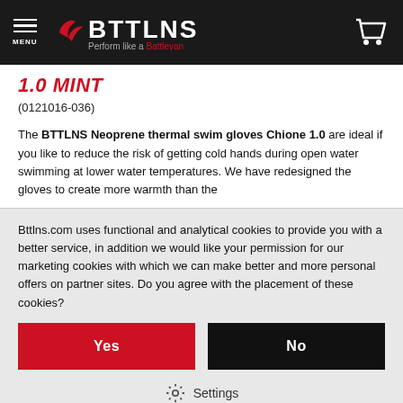BTTLNS — Perform like a Battleyan — MENU
1.0 MINT
(0121016-036)
The BTTLNS Neoprene thermal swim gloves Chione 1.0 are ideal if you like to reduce the risk of getting cold hands during open water swimming at lower water temperatures. We have redesigned the gloves to create more warmth than the
Bttlns.com uses functional and analytical cookies to provide you with a better service, in addition we would like your permission for our marketing cookies with which we can make better and more personal offers on partner sites. Do you agree with the placement of these cookies?
Yes
No
Settings